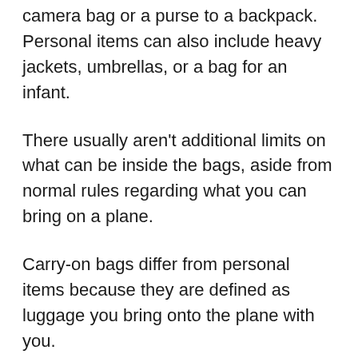camera bag or a purse to a backpack. Personal items can also include heavy jackets, umbrellas, or a bag for an infant.
There usually aren't additional limits on what can be inside the bags, aside from normal rules regarding what you can bring on a plane.
Carry-on bags differ from personal items because they are defined as luggage you bring onto the plane with you.
This usually includes larger baggage like suitcases, duffel bags, or traveling backpacks.
Both have strict limitations when it comes to